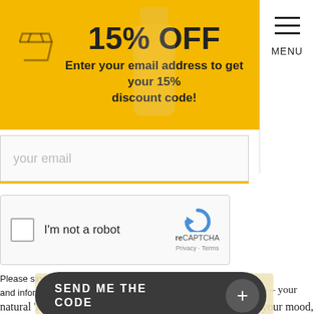[Figure (screenshot): Yellow promotional banner with '15% OFF' heading, basket icon, and product bottle image overlay]
Enter your email address to get your 15% discount code!
[Figure (screenshot): Navigation menu panel with hamburger icon lines and MENU label]
your email
[Figure (screenshot): reCAPTCHA widget with checkbox labeled I'm not a robot, reCAPTCHA logo, Privacy and Terms links]
Please sign me up to the mailing list for exclusive offers, news and information.
We use cookies to ensure you get the best experience on our website.
SEND ME THE CODE
rotonin – your natural 'happy' chemical. Therefore, it's great for boosting your mood, and helping with mood, stress or